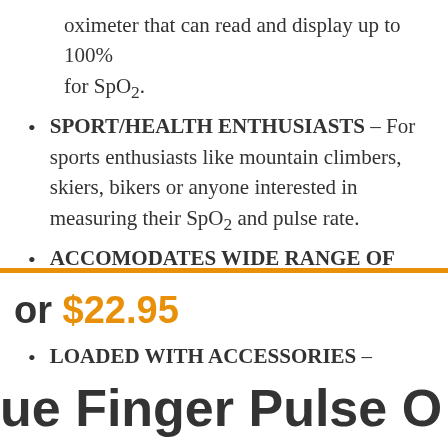oximeter that can read and display up to 100% for SpO2.
SPORT/HEALTH ENTHUSIASTS – For sports enthusiasts like mountain climbers, skiers, bikers or anyone interested in measuring their SpO2 and pulse rate.
ACCOMODATES WIDE RANGE OF FINGER SIZES – Finger chamber with SMART Spring System.
LOADED WITH ACCESSORIES – Include 2X AAA
or $22.95
ue Finger Pulse O